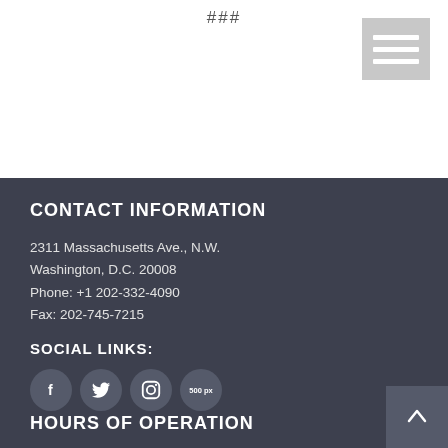###
[Figure (other): Menu/hamburger icon button with three horizontal white lines on grey background]
CONTACT INFORMATION
2311 Massachusetts Ave., N.W.
Washington, D.C. 20008
Phone: +1 202-332-4090
Fax: 202-745-7215
SOCIAL LINKS:
[Figure (other): Four circular social media icon buttons: Facebook, Twitter, Instagram, 500px]
HOURS OF OPERATION